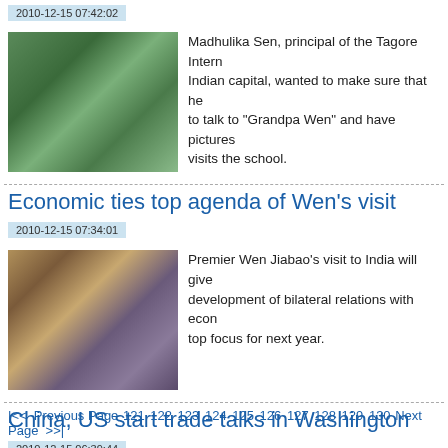2010-12-15 07:42:02
[Figure (photo): Students standing outdoors near a colorful display board]
Madhulika Sen, principal of the Tagore International School in the Indian capital, wanted to make sure that her students get a chance to talk to "Grandpa Wen" and have pictures taken with him when he visits the school.
Economic ties top agenda of Wen's visit
2010-12-15 07:34:01
[Figure (photo): Man in suit being interviewed, speaking with hand gestures]
Premier Wen Jiabao's visit to India will give a new impetus to the development of bilateral relations with economic cooperation as the top focus for next year.
China, US start trade talks in Washington
2010-12-15 06:39:44
China and the United States on Tuesday kicked off their annual trade
|<< Previous Page 121 122 123 124 125 126 127 128 129 130 Next Page >>|